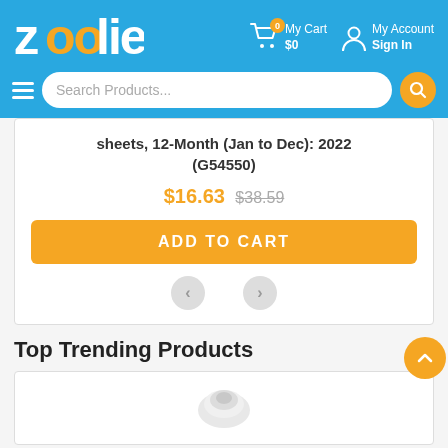[Figure (logo): Zoolie logo with orange double-o letters on blue background]
My Cart $0
My Account Sign In
Search Products...
sheets, 12-Month (Jan to Dec): 2022 (G54550)
$16.63 $38.59
ADD TO CART
Top Trending Products